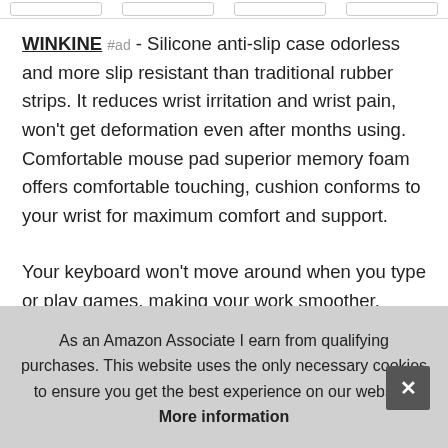WINKINE #ad - Silicone anti-slip case odorless and more slip resistant than traditional rubber strips. It reduces wrist irritation and wrist pain, won't get deformation even after months using. Comfortable mouse pad superior memory foam offers comfortable touching, cushion conforms to your wrist for maximum comfort and support.
Your keyboard won't move around when you type or play games, making your work smoother. Winkine removes the unnecessary front lip, you don't even feel the front lip when you gaming or typing. Good condition package each item was packed with a separate packing box and protective film, so that scra
As an Amazon Associate I earn from qualifying purchases. This website uses the only necessary cookies to ensure you get the best experience on our website. More information